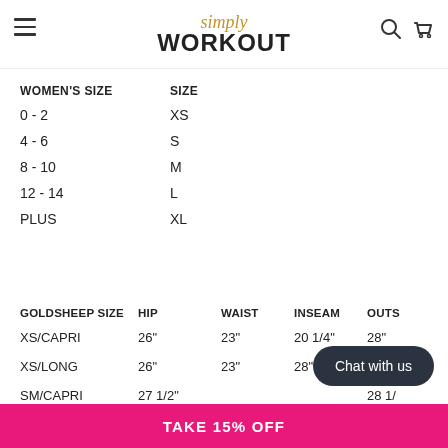[Figure (logo): Simply Workout logo with hamburger menu, search and cart icons]
| WOMEN'S SIZE | SIZE |
| --- | --- |
| 0 - 2 | XS |
| 4 - 6 | S |
| 8 - 10 | M |
| 12 - 14 | L |
| PLUS | XL |
| GOLDSHEEP SIZE | HIP | WAIST | INSEAM | OUTS |
| --- | --- | --- | --- | --- |
| XS/CAPRI | 26" | 23" | 20 1/4" | 28" |
| XS/LONG | 26" | 23" | 28" | 36" |
| SM/CAPRI | 27 1/2" |  |  | 28 1/ |
Chat with us
TAKE 15% OFF